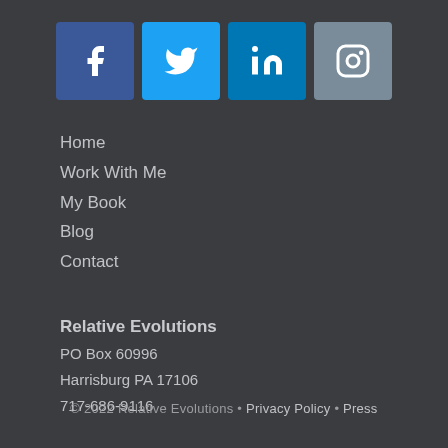[Figure (other): Social media icon buttons: Facebook, Twitter, LinkedIn, Instagram]
Home
Work With Me
My Book
Blog
Contact
Relative Evolutions
PO Box 60996
Harrisburg PA 17106
717-686-9116
© 2022 Relative Evolutions • Privacy Policy • Press